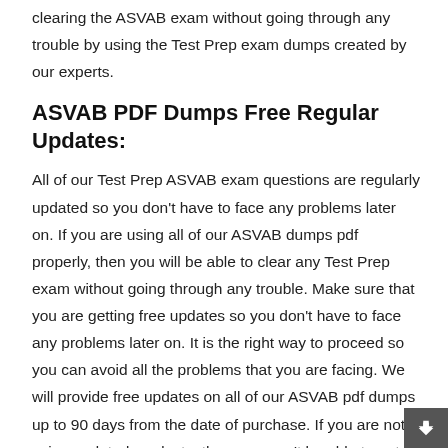clearing the ASVAB exam without going through any trouble by using the Test Prep exam dumps created by our experts.
ASVAB PDF Dumps Free Regular Updates:
All of our Test Prep ASVAB exam questions are regularly updated so you don't have to face any problems later on. If you are using all of our ASVAB dumps pdf properly, then you will be able to clear any Test Prep exam without going through any trouble. Make sure that you are getting free updates so you don't have to face any problems later on. It is the right way to proceed so you can avoid all the problems that you are facing. We will provide free updates on all of our ASVAB pdf dumps up to 90 days from the date of purchase. If you are not using updated products, then you won't be able to get the desired outcome.